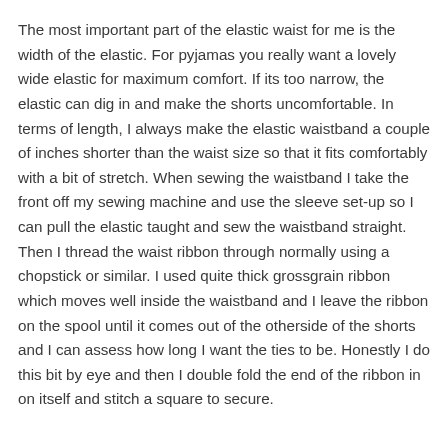The most important part of the elastic waist for me is the width of the elastic. For pyjamas you really want a lovely wide elastic for maximum comfort. If its too narrow, the elastic can dig in and make the shorts uncomfortable. In terms of length, I always make the elastic waistband a couple of inches shorter than the waist size so that it fits comfortably with a bit of stretch. When sewing the waistband I take the front off my sewing machine and use the sleeve set-up so I can pull the elastic taught and sew the waistband straight. Then I thread the waist ribbon through normally using a chopstick or similar. I used quite thick grossgrain ribbon which moves well inside the waistband and I leave the ribbon on the spool until it comes out of the otherside of the shorts and I can assess how long I want the ties to be. Honestly I do this bit by eye and then I double fold the end of the ribbon in on itself and stitch a square to secure.